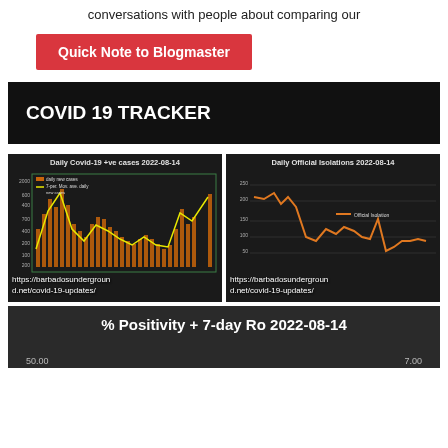conversations with people about comparing our
Quick Note to Blogmaster
COVID 19 TRACKER
[Figure (continuous-plot): Daily Covid-19 +ve cases 2022-08-14 chart showing bar chart of daily new cases with yellow 7-day moving average line, hosted at https://barbadosunderground.net/covid-19-updates/]
[Figure (continuous-plot): Daily Official Isolations 2022-08-14 line chart showing orange official isolation line, hosted at https://barbadosunderground.net/covid-19-updates/]
% Positivity + 7-day Ro 2022-08-14